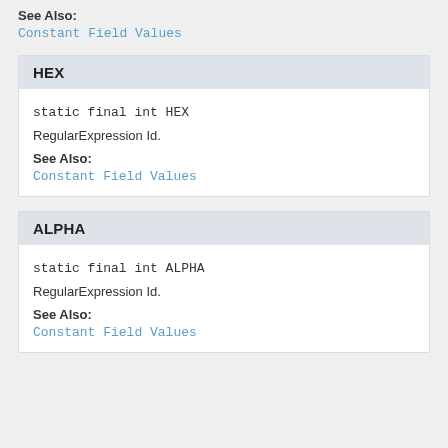See Also:
Constant Field Values
HEX
static final int HEX
RegularExpression Id.
See Also:
Constant Field Values
ALPHA
static final int ALPHA
RegularExpression Id.
See Also:
Constant Field Values